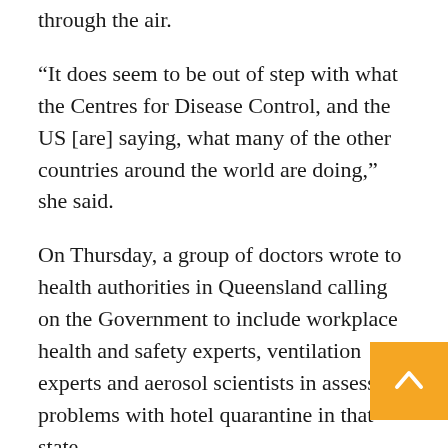through the air.
“It does seem to be out of step with what the Centres for Disease Control, and the US [are] saying, what many of the other countries around the world are doing,” she said.
On Thursday, a group of doctors wrote to health authorities in Queensland calling on the Government to include workplace health and safety experts, ventilation experts and aerosol scientists in assessing problems with hotel quarantine in that state.
“We believe experts from these three fields have an important role to play in elucidating the cause of viral spread both within the hotel, and in future planning for all hotel quarantine around Australia and could piece together an important piece of this